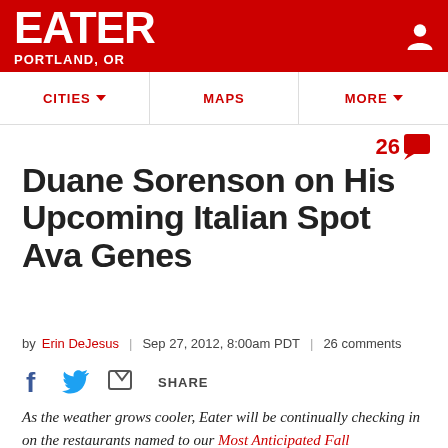EATER / PORTLAND, OR
CITIES | MAPS | MORE
26 comments
Duane Sorenson on His Upcoming Italian Spot Ava Genes
by Erin DeJesus | Sep 27, 2012, 8:00am PDT | 26 comments
SHARE
As the weather grows cooler, Eater will be continually checking in on the restaurants named to our Most Anticipated Fall